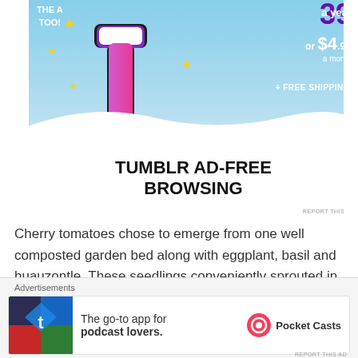[Figure (screenshot): Tumblr ad banner showing ad-free browsing promotion with price '$39 a year or $4.99 a month + FREE SHIPPING' and Tumblr logo with sparkles, with tagline 'TUMBLR AD-FREE BROWSING']
Cherry tomatoes chose to emerge from one well composted garden bed along with eggplant, basil and huauzontle. These seedlings conveniently sprouted in almost parallel rows.
The...
[Figure (screenshot): Pocket Casts advertisement: 'The go-to app for podcast lovers.' with Pocket Casts logo]